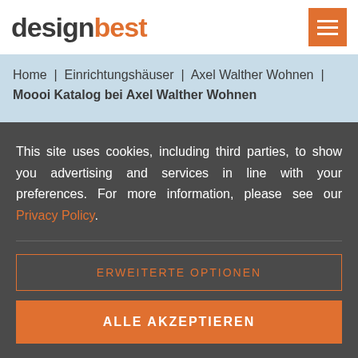designbest
Home | Einrichtungshäuser | Axel Walther Wohnen | Moooi Katalog bei Axel Walther Wohnen
[Figure (other): Orange CONTATTA button with phone icon, partially visible]
This site uses cookies, including third parties, to show you advertising and services in line with your preferences. For more information, please see our Privacy Policy.
ERWEITERTE OPTIONEN
ALLE AKZEPTIEREN